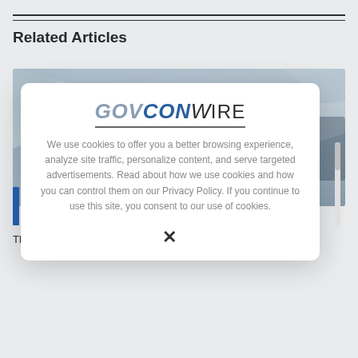Related Articles
[Figure (photo): Blurred photo of what appears to be medical or laboratory glassware with a light blue-grey tone]
F
M
The Food and Drug Administration is shifting to an
[Figure (screenshot): GovConWire cookie consent modal dialog with logo showing GOVCONWIRE and cookie usage notice text, with an X close button]
We use cookies to offer you a better browsing experience, analyze site traffic, personalize content, and serve targeted advertisements. Read about how we use cookies and how you can control them on our Privacy Policy. If you continue to use this site, you consent to our use of cookies.